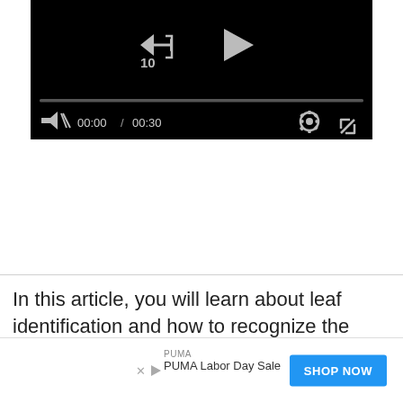[Figure (screenshot): Video player UI showing black screen with rewind-10 and play buttons, a progress bar, mute icon, time display 00:00 / 00:30, settings gear icon, and fullscreen expand icon on dark background]
In this article, you will learn about leaf identification and how to recognize the different parts and structures of tree leaves. The leaf shapes mentioned in this identification guide also apply to other plants such as flowers, shrubs, and bushes.
[Figure (screenshot): Advertisement banner: PUMA brand, PUMA Labor Day Sale text, SHOP NOW blue button, with X close icon and triangle play icon on left]